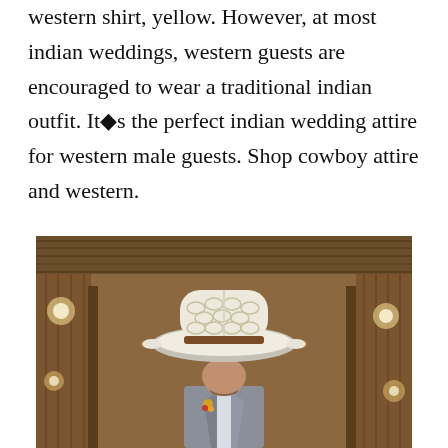western shirt, yellow. However, at most indian weddings, western guests are encouraged to wear a traditional indian outfit. It◆s the perfect indian wedding attire for western male guests. Shop cowboy attire and western.
[Figure (photo): A man wearing a white woven straw cowboy hat with a brown leather band, dressed in a grey suit with a floral boutonniere, standing inside a wooden barn with warm lighting]